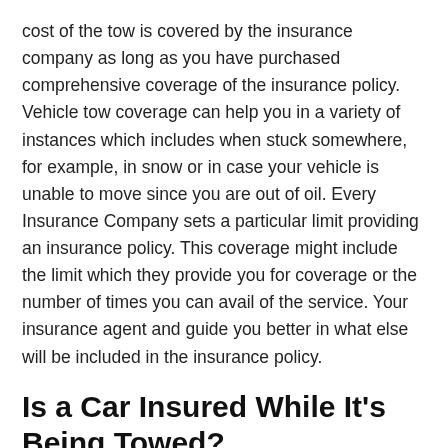cost of the tow is covered by the insurance company as long as you have purchased comprehensive coverage of the insurance policy. Vehicle tow coverage can help you in a variety of instances which includes when stuck somewhere, for example, in snow or in case your vehicle is unable to move since you are out of oil. Every Insurance Company sets a particular limit providing an insurance policy. This coverage might include the limit which they provide you for coverage or the number of times you can avail of the service. Your insurance agent and guide you better in what else will be included in the insurance policy.
Is a Car Insured While It's Being Towed?
Driving at times proves to be very dangerous no matter how safely you drive. Still, there are chances where you need roadside assistance. These things are considered unpredictable. Yes, it is being insured while driving, but it has certain